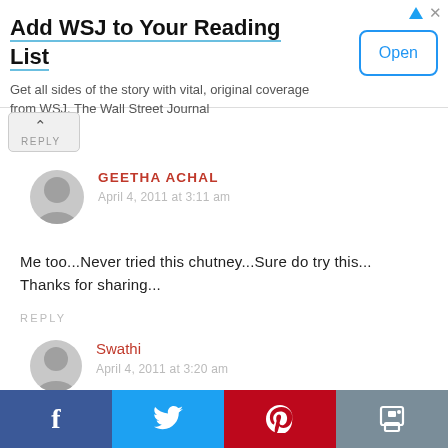[Figure (screenshot): WSJ app advertisement banner with title 'Add WSJ to Your Reading List', subtitle text, and an Open button]
REPLY
GEETHA ACHAL
April 4, 2011 at 3:11 am
Me too...Never tried this chutney...Sure do try this...
Thanks for sharing...
REPLY
Swathi
April 4, 2011 at 3:20 am
[Figure (screenshot): Social sharing bar with Facebook, Twitter, Pinterest, and Print buttons]